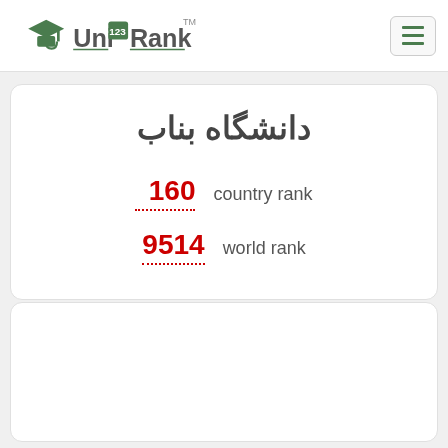UniRank
دانشگاه بناب
country rank  160
world rank  9514